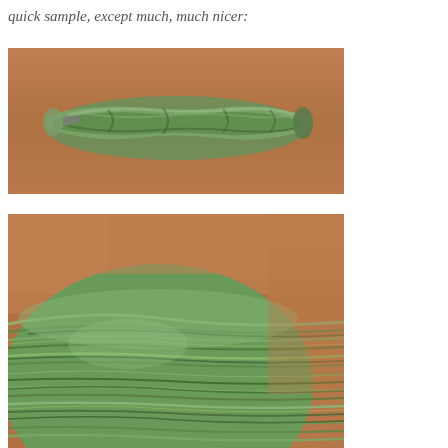quick sample, except much, much nicer:
[Figure (photo): A twisted skein of variegated green yarn with hints of purple, photographed on a wooden surface. The yarn is thin and silky in appearance, twisted into a compact hank.]
[Figure (photo): A close-up photograph of a skein of variegated green yarn showing the texture and color variation including shades of green, yellow-green, and dark green/teal, against a wooden surface.]